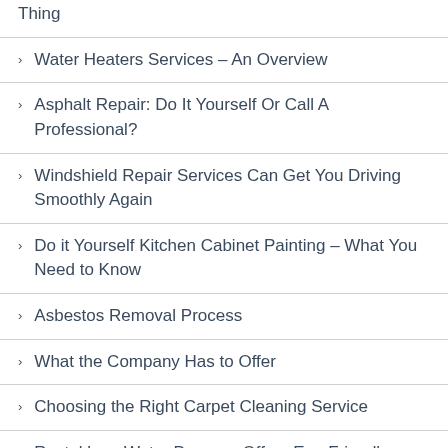Thing
Water Heaters Services – An Overview
Asphalt Repair: Do It Yourself Or Call A Professional?
Windshield Repair Services Can Get You Driving Smoothly Again
Do it Yourself Kitchen Cabinet Painting – What You Need to Know
Asbestos Removal Process
What the Company Has to Offer
Choosing the Right Carpet Cleaning Service
Restokleen Water Damage Offers Eco-Friendly Services